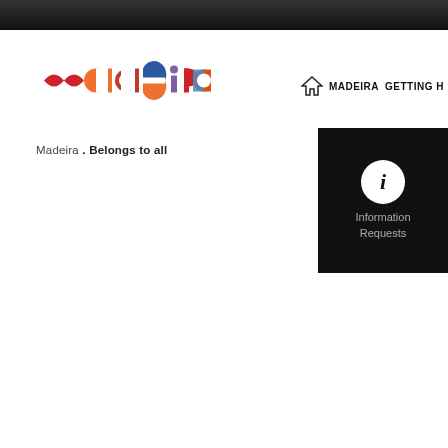[Figure (logo): Madeira tourism logo with colorful geometric shapes spelling 'madeira' and tagline 'Madeira. Belongs to all']
MADEIRA   GETTING H
[Figure (infographic): Black box with white circle information icon (i) and text 'Information Requests']